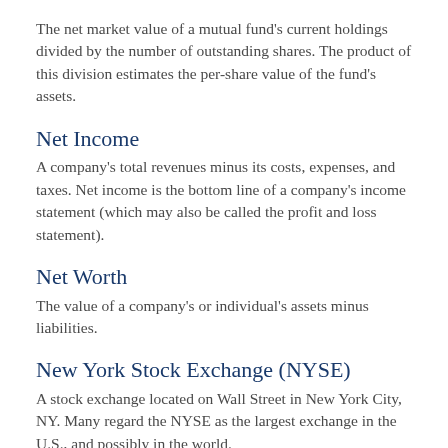The net market value of a mutual fund's current holdings divided by the number of outstanding shares. The product of this division estimates the per-share value of the fund's assets.
Net Income
A company's total revenues minus its costs, expenses, and taxes. Net income is the bottom line of a company's income statement (which may also be called the profit and loss statement).
Net Worth
The value of a company's or individual's assets minus liabilities.
New York Stock Exchange (NYSE)
A stock exchange located on Wall Street in New York City, NY. Many regard the NYSE as the largest exchange in the U.S., and possibly in the world.